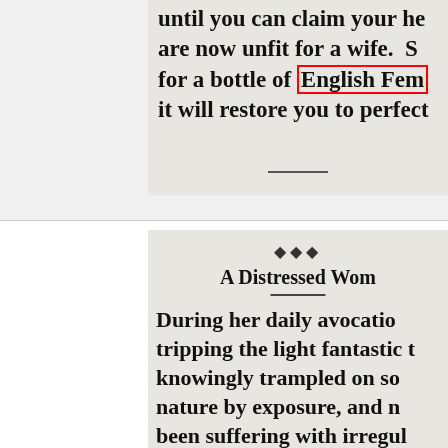[Figure (photo): Cropped newspaper advertisement showing text: 'until you can claim your he... are now unfit for a wife. S... for a bottle of English Fem... it will restore you to perfect' with 'English Fem' highlighted in a red box]
“Demure Coquetry” – English Female Bitters notic... Herald (Hartford, Ky.), October 22, 1...
[Figure (photo): Cropped newspaper advertisement with decorative dingbat, title 'A Distressed Wom...' and text beginning 'During her daily avocatio... tripping the light fantastic t... knowingly trampled on so... nature by exposure, and n... been suffering with irregul... action, or actual suppression... severe headache and pain i... is nervous and cross, loss']